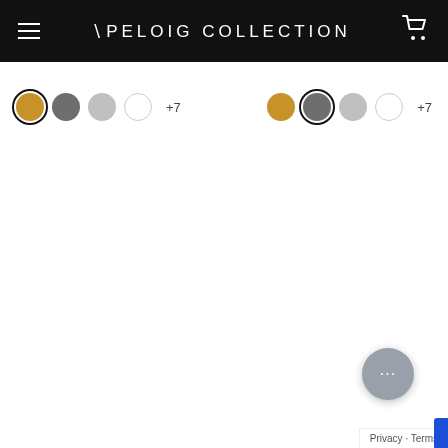APELOIG COLLECTION
[Figure (screenshot): Two rows of color swatches (gold, dark gray, light gray, white, +7) for product color selection]
Navigation
Company
Receive 10% off on your first purchase
Payment